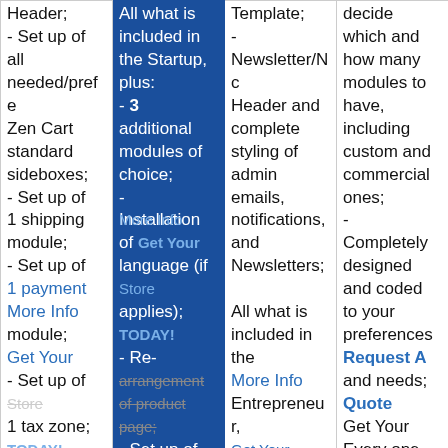| Col1 | Col2 | Col3 | Col4 |
| --- | --- | --- | --- |
| Header;
- Set up of all needed/preferred Zen Cart standard sideboxes;
- Set up of 1 shipping module;
- Set up of 1 payment module;
- Set up of 1 tax zone;
- Add your logo to your admin area so it | All what is included in the Startup, plus:
- 3 additional modules of choice;
-
Installation of 1 language (if applies);
- Re-arrangement of product page;
- Set up of | Template;
-
Newsletter/Nc Header and complete styling of admin emails, notifications, and Newsletters;

All what is included in the Entrepreneur, plus:
- A total of 8 modules | decide which and how many modules to have, including custom and commercial ones;
-
Completely designed and coded to your preferences and needs;
Every one Store |